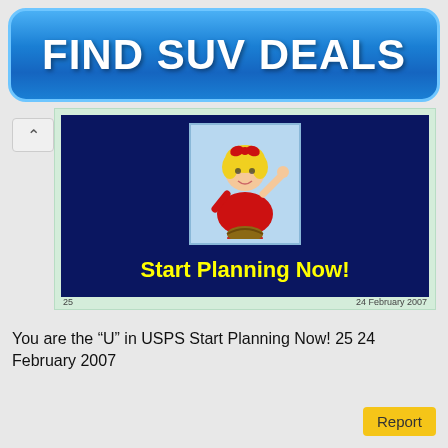[Figure (illustration): Blue rounded rectangle advertisement banner with text 'FIND SUV DEALS' in large bold white letters]
[Figure (screenshot): A presentation slide thumbnail on a light green background. The slide has a dark navy blue background with a cartoon girl in red dress waving, set in a light blue square at top center. Below is yellow bold text reading 'Start Planning Now!'. Slide numbers '25' on bottom left and '24 February 2007' on bottom right are shown on the green background below the slide.]
You are the “U” in USPS Start Planning Now! 25 24 February 2007
[Figure (other): Yellow 'Report' button in bottom right corner]